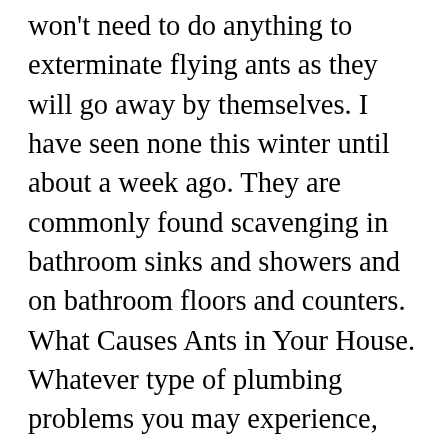won't need to do anything to exterminate flying ants as they will go away by themselves. I have seen none this winter until about a week ago. They are commonly found scavenging in bathroom sinks and showers and on bathroom floors and counters. What Causes Ants in Your House. Whatever type of plumbing problems you may experience, make sure to contact Scott English Plumbing to benefit from their more than 19 years of plumbing experience. Having an ant colony infest your walls, attic, basement, or even pantry, can be damaging to your family and home. Tiny ants like to make themselves at home—they'll find their way into bathrooms, too. unfortunately when moisture ants begin to appear, they have "probably"